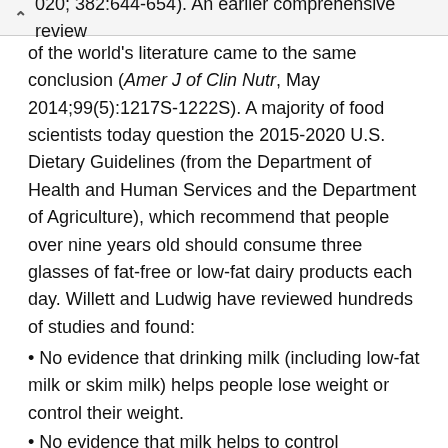020; 382:644-654). An earlier comprehensive review
of the world's literature came to the same conclusion (Amer J of Clin Nutr, May 2014;99(5):1217S-1222S). A majority of food scientists today question the 2015-2020 U.S. Dietary Guidelines (from the Department of Health and Human Services and the Department of Agriculture), which recommend that people over nine years old should consume three glasses of fat-free or low-fat dairy products each day. Willett and Ludwig have reviewed hundreds of studies and found:
• No evidence that drinking milk (including low-fat milk or skim milk) helps people lose weight or control their weight.
• No evidence that milk helps to control cholesterol or blood pressure, two major markers for heart attacks. The few studies that showed that dairy products help to